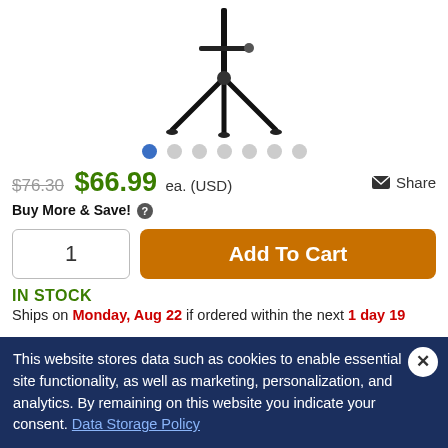[Figure (photo): Product image of a black tripod/speaker stand on white background]
$76.30  $66.99 ea. (USD)   Share
Buy More & Save! (i)
1   Add To Cart
IN STOCK
Ships on Monday, Aug 22 if ordered within the next 1 day 19
This website stores data such as cookies to enable essential site functionality, as well as marketing, personalization, and analytics. By remaining on this website you indicate your consent. Data Storage Policy